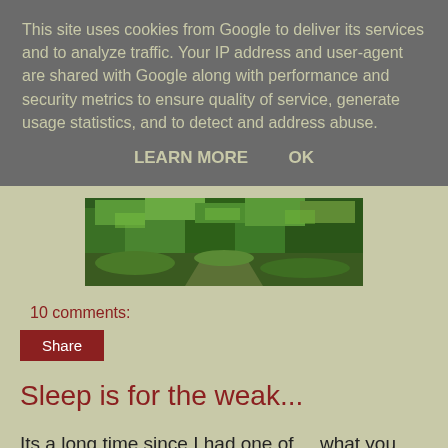This site uses cookies from Google to deliver its services and to analyze traffic. Your IP address and user-agent are shared with Google along with performance and security metrics to ensure quality of service, generate usage statistics, and to detect and address abuse.
LEARN MORE    OK
[Figure (photo): A wide panoramic photo of a lush green forest path or mossy landscape.]
10 comments:
Share
Sleep is for the weak...
Its a long time since I had one of  .. what you call it now , oh yes a screaming ball of fury  which equates to you or I a baby. or a toddler which is equal to a moving weapon of mass destruction.